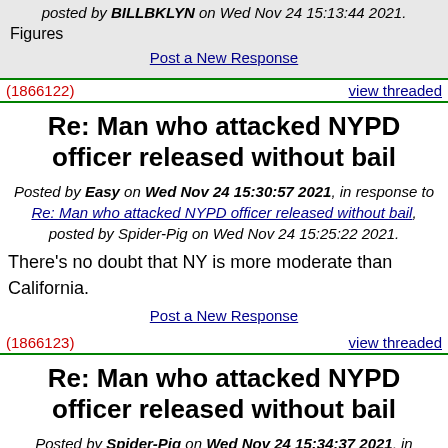posted by BILLBKLYN on Wed Nov 24 15:13:44 2021.
Figures
Post a New Response
(1866122)
view threaded
Re: Man who attacked NYPD officer released without bail
Posted by Easy on Wed Nov 24 15:30:57 2021, in response to Re: Man who attacked NYPD officer released without bail, posted by Spider-Pig on Wed Nov 24 15:25:22 2021.
There's no doubt that NY is more moderate than California.
Post a New Response
(1866123)
view threaded
Re: Man who attacked NYPD officer released without bail
Posted by Spider-Pig on Wed Nov 24 15:34:37 2021, in response